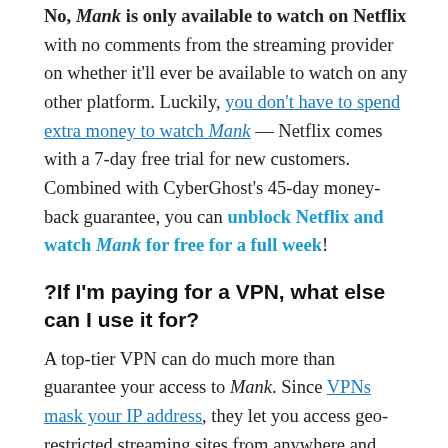No, Mank is only available to watch on Netflix with no comments from the streaming provider on whether it'll ever be available to watch on any other platform. Luckily, you don't have to spend extra money to watch Mank — Netflix comes with a 7-day free trial for new customers. Combined with CyberGhost's 45-day money-back guarantee, you can unblock Netflix and watch Mank for free for a full week!
?If I'm paying for a VPN, what else can I use it for?
A top-tier VPN can do much more than guarantee your access to Mank. Since VPNs mask your IP address, they let you access geo-restricted streaming sites from anywhere and protect your online privacy.